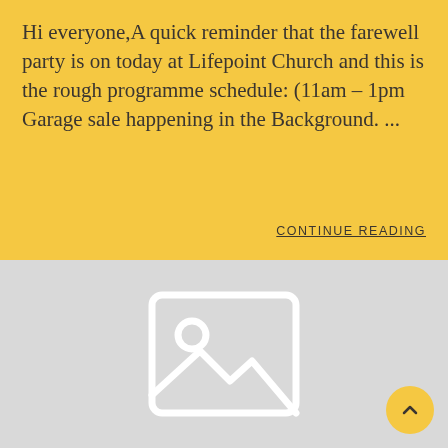Hi everyone,A quick reminder that the farewell party is on today at Lifepoint Church and this is the rough programme schedule:  (11am – 1pm Garage sale happening in the Background. ...
CONTINUE READING
[Figure (other): Gray placeholder image icon (image/photo placeholder graphic) on a light gray background, with a circular scroll-to-top button (yellow/gold) with an upward chevron arrow in the bottom right corner.]